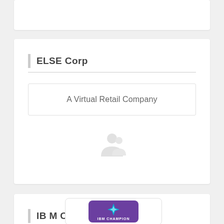ELSE Corp
A Virtual Retail Company
[Figure (logo): Small icon/avatar placeholder graphic, faintly visible]
IB M Champion 2019
[Figure (logo): IBM Champion 2019 badge - purple rounded square with a teal/cyan star-like compass icon and IBM CHAMPION text]